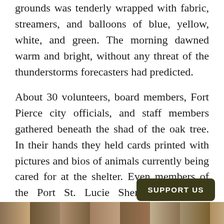grounds was tenderly wrapped with fabric, streamers, and balloons of blue, yellow, white, and green. The morning dawned warm and bright, without any threat of the thunderstorms forecasters had predicted.
About 30 volunteers, board members, Fort Pierce city officials, and staff members gathered beneath the shad of the oak tree. In their hands they held cards printed with pictures and bios of animals currently being cared for at the shelter. Even members of the Port St. Lucie Sheriff Department attended with a couple of their K-9 units.
[Figure (photo): Photo strip at the bottom of the page showing outdoor gathering scene]